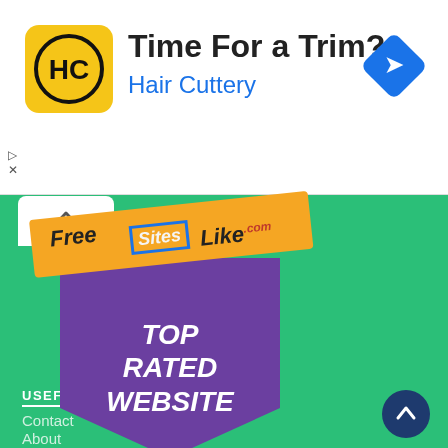[Figure (advertisement): Hair Cuttery ad banner with yellow/black HC logo, text 'Time For a Trim?' and 'Hair Cuttery', and a blue diamond navigation icon on the right]
[Figure (logo): FreeSitesLike.com Top Rated Website badge on a teal/green background with a chevron-up arrow icon]
USEFUL LINKS
Contact
About